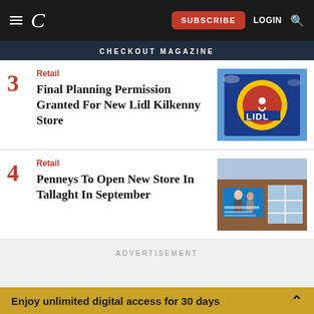CHECKOUT MAGAZINE
3 Retail — Final Planning Permission Granted For New Lidl Kilkenny Store
[Figure (photo): Lidl store sign showing the Lidl logo — blue background with yellow circle and red symbol]
4 Retail — Penneys To Open New Store In Tallaght In September
[Figure (photo): Penneys store exterior — brick building with large blue advertisement banner featuring people]
ADVERTISEMENT
Enjoy unlimited digital access for 30 days